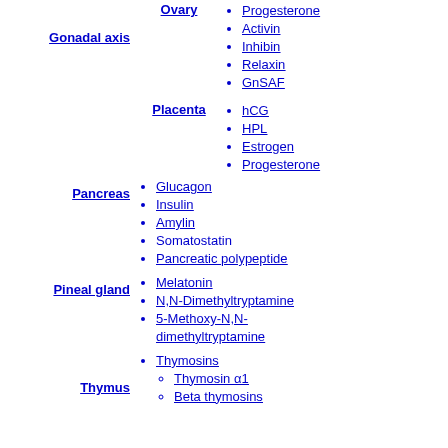Gonadal axis
Ovary
Progesterone
Activin
Inhibin
Relaxin
GnSAF
Placenta
hCG
HPL
Estrogen
Progesterone
Pancreas
Glucagon
Insulin
Amylin
Somatostatin
Pancreatic polypeptide
Pineal gland
Melatonin
N,N-Dimethyltryptamine
5-Methoxy-N,N-dimethyltryptamine
Thymus
Thymosins
Thymosin α1
Beta thymosins